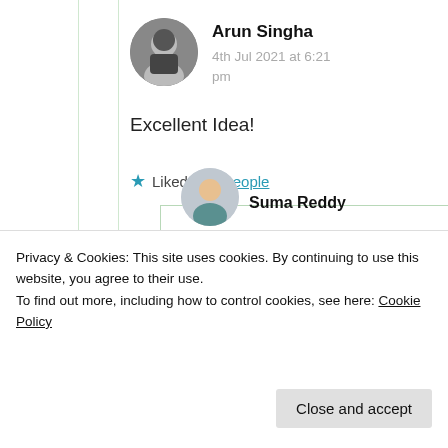Arun Singha
4th Jul 2021 at 6:21 pm
Excellent Idea!
★ Liked by 2 people
[Figure (photo): Profile photo of Suma Reddy]
Suma Reddy
Privacy & Cookies: This site uses cookies. By continuing to use this website, you agree to their use.
To find out more, including how to control cookies, see here: Cookie Policy
Close and accept